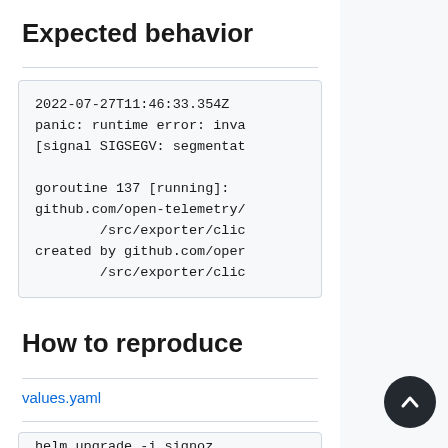Expected behavior
2022-07-27T11:46:33.354Z
panic: runtime error: inva
[signal SIGSEGV: segmentat

goroutine 137 [running]:
github.com/open-telemetry/
        /src/exporter/clic
created by github.com/oper
        /src/exporter/clic
How to reproduce
values.yaml
helm upgrade -i signoz